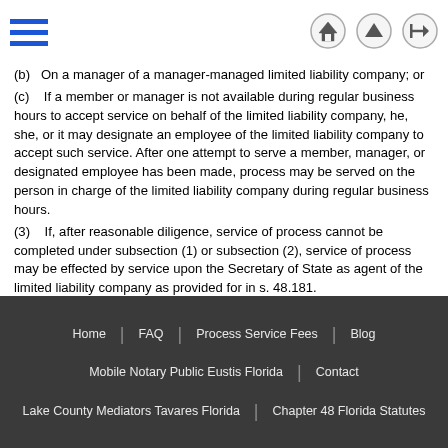[hamburger menu icon, home icon, up arrow icon, login icon]
(b)  On a manager of a manager-managed limited liability company; or
(c)  If a member or manager is not available during regular business hours to accept service on behalf of the limited liability company, he, she, or it may designate an employee of the limited liability company to accept such service. After one attempt to serve a member, manager, or designated employee has been made, process may be served on the person in charge of the limited liability company during regular business hours.
(3)  If, after reasonable diligence, service of process cannot be completed under subsection (1) or subsection (2), service of process may be effected by service upon the Secretary of State as agent of the limited liability company as provided for in s. 48.181.
(4)  If the address provided for the registered agent, member, or manager is a residence or private mailbox, service on the limited liability company, domestic or foreign, may be made by serving the registered agent, member, or manager in accordance with s. 48.031.
(5)  This section does not apply to service of process on insurance companies.
Home | FAQ | Process Service Fees | Blog | Mobile Notary Public Eustis Florida | Contact | Lake County Mediators Tavares Florida | Chapter 48 Florida Statutes